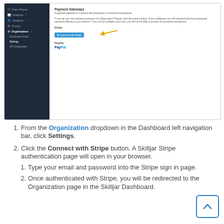[Figure (screenshot): Screenshot of a dashboard showing Payment Gateways settings page with Stripe 'Connect with Stripe' button (highlighted with yellow arrow) and PayPal logo. Left sidebar shows Organization menu with Dashboard Users, Settings, API Credentials options.]
From the Organization dropdown in the Dashboard left navigation bar, click Settings.
Click the Connect with Stripe button. A Skilljar Stripe authentication page will open in your browser.
Type your email and password into the Stripe sign in page.
Once authenticated with Stripe, you will be redirected to the Organization page in the Skilljar Dashboard.